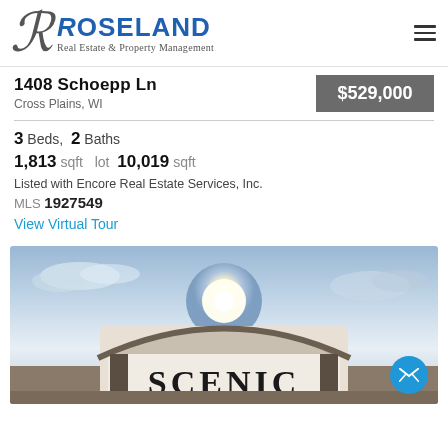[Figure (logo): Roseland Real Estate & Property Management logo with stylized R and blue text]
1408 Schoepp Ln
Cross Plains, WI
$529,000
3 Beds, 2 Baths
1,813 sqft lot 10,019 sqft
Listed with Encore Real Estate Services, Inc.
MLS 1927549
View Virtual Tour
[Figure (photo): Outdoor photo showing a subdivision entrance sign reading SCENIC under a dramatic sky with sunburst effect]